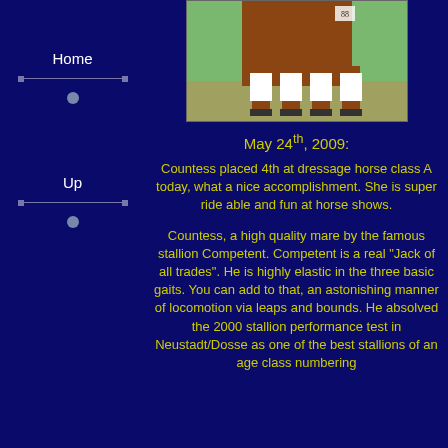Home
Up
[Figure (photo): Photo of a horse's legs with white leg wraps, walking on a dressage surface]
May 24th, 2009:
Countess placed 4th at dressage horse class A today, what a nice accomplishment. She is super ride able and fun at horse shows.
Countess, a high quality mare by the famous stallion Competent. Competent is a real "Jack of all trades". He is highly elastic in the three basic gaits. You can add to that, an astonishing manner of locomotion via leaps and bounds. He absolved the 2000 stallion performance test in Neustadt/Dosse as one of the best stallions of an age class numbering